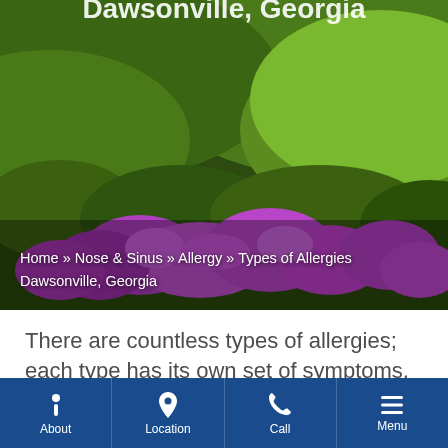[Figure (photo): Landscape photo of a mountain hillside covered in purple rhododendron flowers with green trees and rolling hills in the background]
Home » Nose & Sinus » Allergy » Types of Allergies Dawsonville, Georgia
There are countless types of allergies; each type has its own set of symptoms, which can range from mild to life
About | Location | Call | Menu